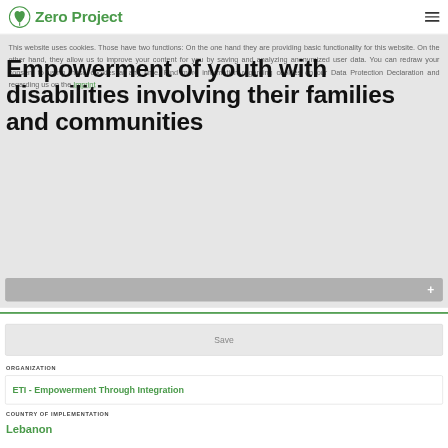Zero Project
This website uses cookies. Those have two functions: On the one hand they are providing basic functionality for this website. On the other hand, they allow us to improve your content for you by saving and analyzing anonymized user data. You can redraw your consent to using these cookies at any time. Find more information regarding cookies on our Data Protection Declaration and regarding us on the Imprint.
Empowerment of youth with disabilities involving their families and communities
Save
ORGANIZATION
ETI - Empowerment Through Integration
COUNTRY OF IMPLEMENTATION
Lebanon